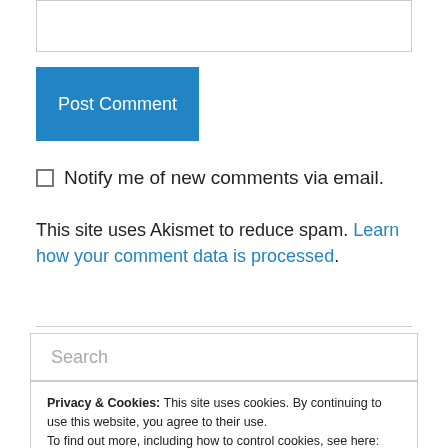[Figure (other): Text input box (comment field), partially visible at top]
Post Comment
Notify me of new comments via email.
This site uses Akismet to reduce spam. Learn how your comment data is processed.
[Figure (other): Search input box with placeholder text 'Search']
Privacy & Cookies: This site uses cookies. By continuing to use this website, you agree to their use.
To find out more, including how to control cookies, see here: Cookie Policy
Close and accept